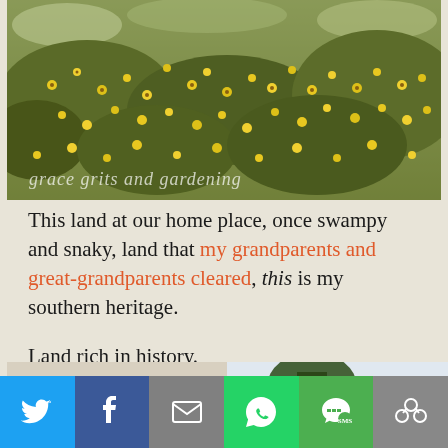[Figure (photo): A field covered with yellow wildflowers and green shrubs, outdoor nature scene with watermark text reading 'grace grits and gardening']
This land at our home place, once swampy and snaky, land that my grandparents and great-grandparents cleared, this is my southern heritage.
Land rich in history.
[Figure (photo): Two side-by-side photos at the bottom: left shows an interior room wall, right shows a large tree with sky background]